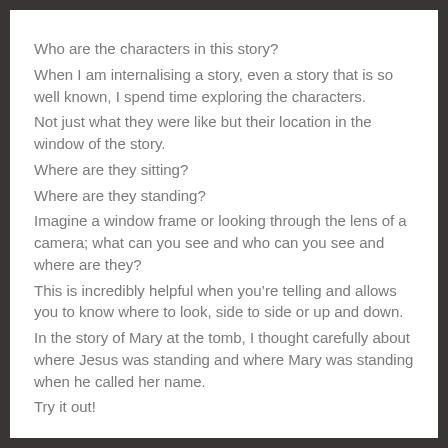Who are the characters in this story?
When I am internalising a story, even a story that is so well known, I spend time exploring the characters.
Not just what they were like but their location in the window of the story.
Where are they sitting?
Where are they standing?
Imagine a window frame or looking through the lens of a camera; what can you see and who can you see and where are they?
This is incredibly helpful when you’re telling and allows you to know where to look, side to side or up and down.
In the story of Mary at the tomb, I thought carefully about where Jesus was standing and where Mary was standing when he called her name.
Try it out!